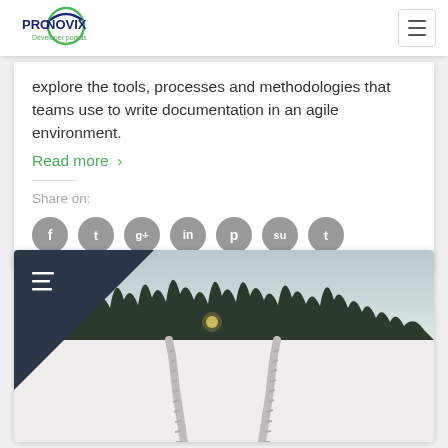[Figure (logo): Pronovix Developer portals logo with circular green/blue graphic element]
explore the tools, processes and methodologies that teams use to write documentation in an agile environment.
Read more ›
Share on:
[Figure (infographic): Social sharing icon buttons: Facebook, Twitter, Google+, LinkedIn, Pinterest, StumbleUpon, Tumblr — grey circles with white icons]
[Figure (photo): Winter landscape photo showing tire tracks in snow leading into the distance, with dark conifer forest treeline in the background and a dark navy triangle overlay in the top-left corner with a hamburger menu icon]